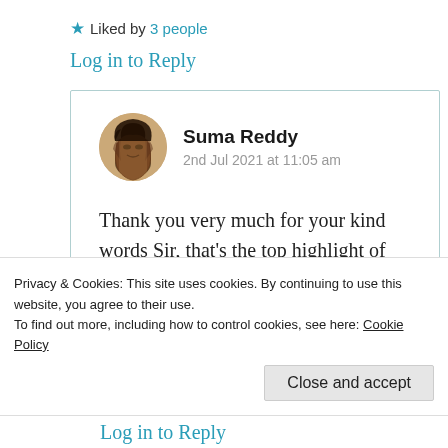★ Liked by 3 people
Log in to Reply
Suma Reddy
2nd Jul 2021 at 11:05 am
Thank you very much for your kind words Sir, that's the top highlight of
Privacy & Cookies: This site uses cookies. By continuing to use this website, you agree to their use.
To find out more, including how to control cookies, see here: Cookie Policy
Log in to Reply